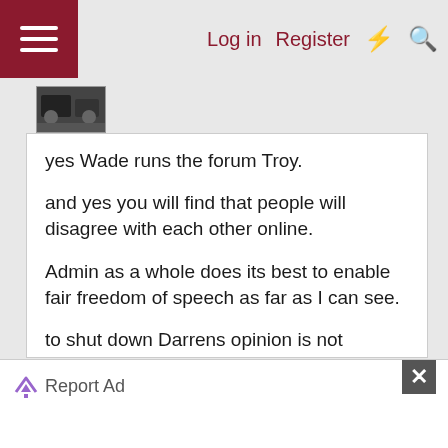Log in  Register
yes Wade runs the forum Troy.

and yes you will find that people will disagree with each other online.

Admin as a whole does its best to enable fair freedom of speech as far as I can see.

to shut down Darrens opinion is not freedom of speech.

I have also added a caveat to this thread that it is personal opinion.
Report Ad